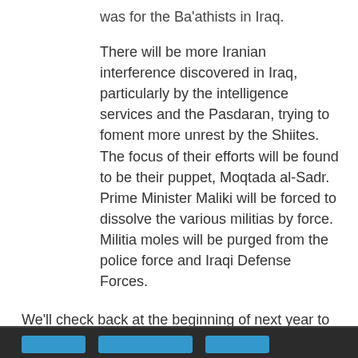was for the Ba'athists in Iraq.
There will be more Iranian interference discovered in Iraq, particularly by the intelligence services and the Pasdaran, trying to foment more unrest by the Shiites. The focus of their efforts will be found to be their puppet, Moqtada al-Sadr. Prime Minister Maliki will be forced to dissolve the various militias by force. Militia moles will be purged from the police force and Iraqi Defense Forces.
We'll check back at the beginning of next year to see how close I've come. One or two of these predictions may not play put until late in 2008, but I'm willing to wait.
DCE at 1/01/2007 09:39:00 PM   No comments:
Share